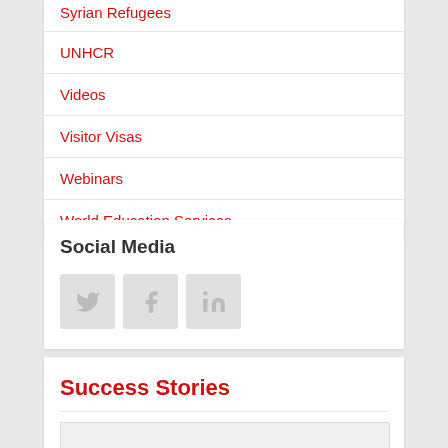Syrian Refugees
UNHCR
Videos
Visitor Visas
Webinars
World Education Services
Social Media
[Figure (illustration): Three social media icon buttons: Twitter (bird icon), Facebook (f icon), LinkedIn (in icon), each displayed as a light grey rounded square button]
Success Stories
[Figure (photo): Partial thumbnail image at the bottom of the page, partially cut off]